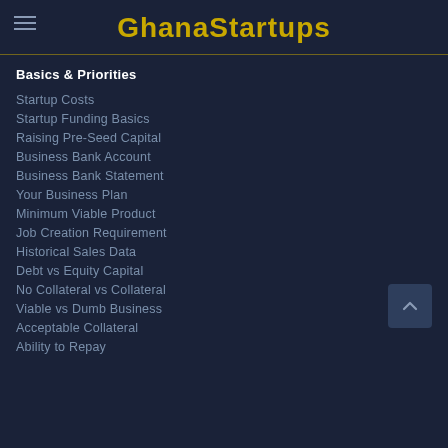GhanaStartups
Basics & Priorities
Startup Costs
Startup Funding Basics
Raising Pre-Seed Capital
Business Bank Account
Business Bank Statement
Your Business Plan
Minimum Viable Product
Job Creation Requirement
Historical Sales Data
Debt vs Equity Capital
No Collateral vs Collateral
Viable vs Dumb Business
Acceptable Collateral
Ability to Repay